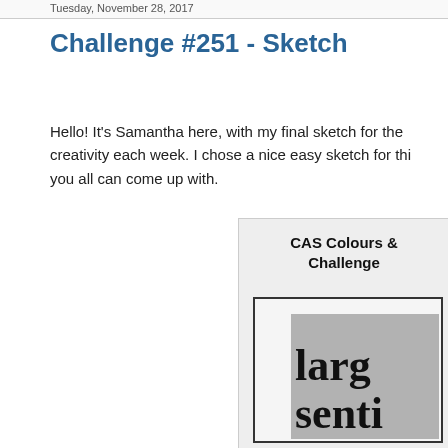Tuesday, November 28, 2017
Challenge #251 - Sketch
Hello! It's Samantha here, with my final sketch for the creativity each week. I chose a nice easy sketch for this you all can come up with.
[Figure (illustration): CAS Colours & Challenge sketch card showing a card layout with a large gray rectangle inside an outer white-bordered box, with partially visible bold text reading 'larg' and 'Senti']